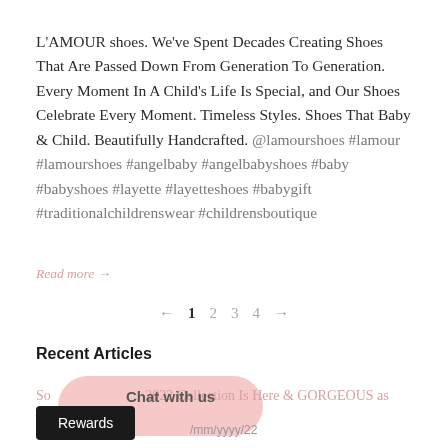L'AMOUR shoes. We've Spent Decades Creating Shoes That Are Passed Down From Generation To Generation. Every Moment In A Child's Life Is Special, and Our Shoes Celebrate Every Moment. Timeless Styles. Shoes That Baby & Child. Beautifully Handcrafted. @lamourshoes #lamour #lamourshoes #angelbaby #angelbabyshoes #baby #babyshoes #layette #layetteshoes #babygift #traditionalchildrenswear #childrensboutique
Read more →
← 1 2 3 4 →
Recent Articles
So... 2022 Collection Is Here & GORGEOUS as always!
Chat with us
Rewards